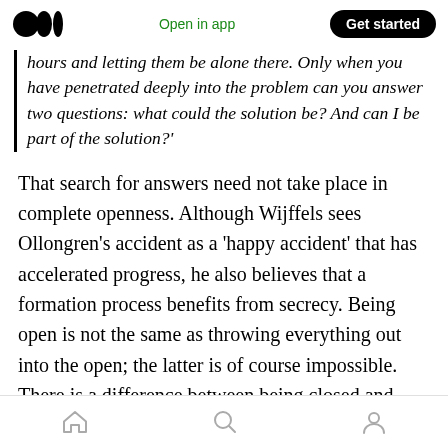Medium logo | Open in app | Get started
hours and letting them be alone there. Only when you have penetrated deeply into the problem can you answer two questions: what could the solution be? And can I be part of the solution?'
That search for answers need not take place in complete openness. Although Wijffels sees Ollongren’s accident as a ‘happy accident’ that has accelerated progress, he also believes that a formation process benefits from secrecy. Being open is not the same as throwing everything out into the open; the latter is of course impossible. There is a difference between being closed and
Home | Search | Profile